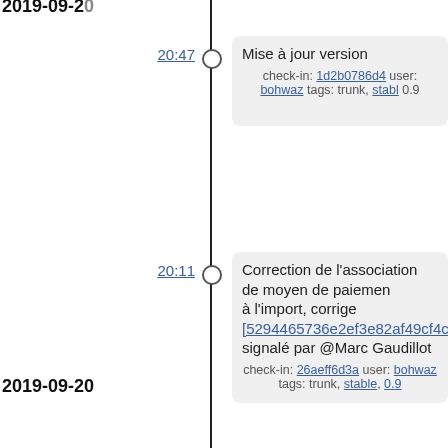2019-09-20 (date header at top, partially visible)
20:47 - Mise à jour version
check-in: 1d2b0786d4 user: bohwaz tags: trunk, stable, 0.9
20:11 - Correction de l'association de moyen de paiement à l'import, corrige [5294465736e2ef3e82af49cf4c2a69c0d31f4e77], signalé par @Marc Gaudillot
check-in: 26aeff6d3a user: bohwaz tags: trunk, stable, 0.9
20:03 - Cohérence format de liste membres, corrige [37b3fab88e63a975dbce0c1c0402892ae642044f
check-in: 6b5ef651c6 user: bohwaz tags: trunk
2019-09-20
23:44 - Permettre de sélectionner l'exercice affiché dans un journal (patch de @adresse riseup)
check-in: b9a3899c01 user: bohwaz tags: trunk, stable